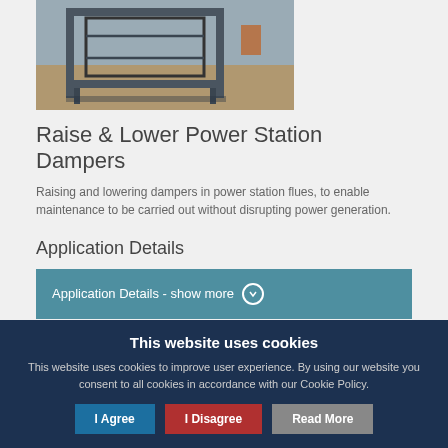[Figure (photo): Photo of a large metal damper frame structure in a workshop/industrial setting]
Raise & Lower Power Station Dampers
Raising and lowering dampers in power station flues, to enable maintenance to be carried out without disrupting power generation.
Application Details
Application Details - show more
Products used
This website uses cookies
This website uses cookies to improve user experience. By using our website you consent to all cookies in accordance with our Cookie Policy.
I Agree
I Disagree
Read More
Coupling S...